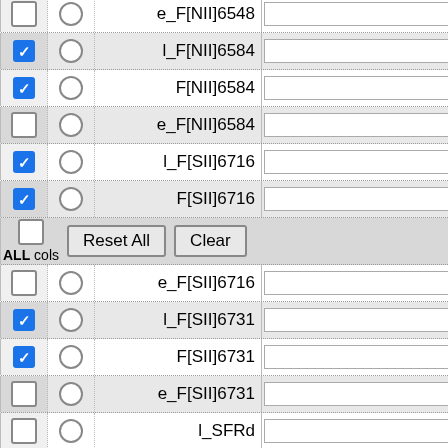[Figure (screenshot): UI panel showing a list of astronomical spectral line column selectors. Each row has a checkbox (checked/unchecked), a radio button, a column name label (e.g. e_F[NII]6548, l_F[NII]6584, F[NII]6584, etc.), and a text input field. A special row contains a checkbox, 'ALL cols' label, 'Reset All' and 'Clear' buttons. Checked rows include: l_F[NII]6584, F[NII]6584, l_F[SII]6716, F[SII]6716, l_F[SII]6731, F[SII]6731, SFRd. Unchecked rows include: e_F[NII]6548, e_F[NII]6584, e_F[SII]6716, e_F[SII]6731, l_SFRd, E_SFRd, e_SFRd, l_Avd.]